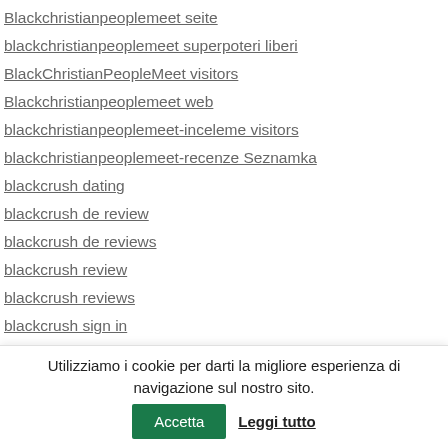Blackchristianpeoplemeet seite
blackchristianpeoplemeet superpoteri liberi
BlackChristianPeopleMeet visitors
Blackchristianpeoplemeet web
blackchristianpeoplemeet-inceleme visitors
blackchristianpeoplemeet-recenze Seznamka
blackcrush dating
blackcrush de review
blackcrush de reviews
blackcrush review
blackcrush reviews
blackcrush sign in
blackcupid apk
Blackcupid blackB rencontre
blackcupid bons de r?duction
BlackCupid company site
Utilizziamo i cookie per darti la migliore esperienza di navigazione sul nostro sito. Accetta Leggi tutto